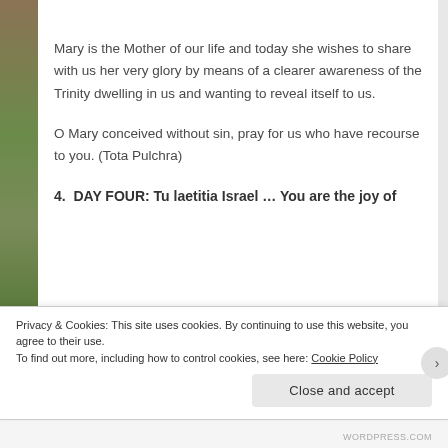[Figure (photo): Left-side vertical image strip showing a religious or nature scene with green and brown tones]
Mary is the Mother of our life and today she wishes to share with us her very glory by means of a clearer awareness of the Trinity dwelling in us and wanting to reveal itself to us.
O Mary conceived without sin, pray for us who have recourse to you. (Tota Pulchra)
4.  DAY FOUR: Tu laetitia Israel … You are the joy of
Privacy & Cookies: This site uses cookies. By continuing to use this website, you agree to their use.
To find out more, including how to control cookies, see here: Cookie Policy
Close and accept